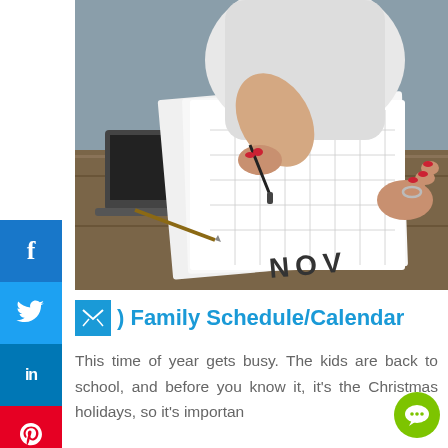[Figure (photo): Woman in white long-sleeve top writing on a paper calendar (showing 'NOV') placed on a wooden table, with a laptop in the background. Hands with red nail polish and a ring are visible.]
) Family Schedule/Calendar
This time of year gets busy. The kids are back to school, and before you know it, it's the Christmas holidays, so it's importan